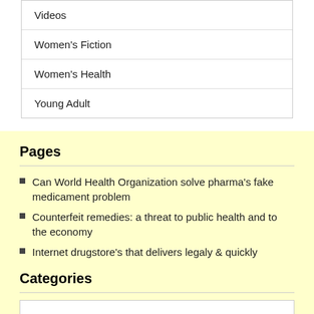Videos
Women's Fiction
Women's Health
Young Adult
Pages
Can World Health Organization solve pharma's fake medicament problem
Counterfeit remedies: a threat to public health and to the economy
Internet drugstore's that delivers legaly & quickly
Categories